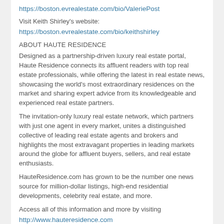https://boston.evrealestate.com/bio/ValeriePost
Visit Keith Shirley's website:
https://boston.evrealestate.com/bio/keithshirley
ABOUT HAUTE RESIDENCE
Designed as a partnership-driven luxury real estate portal, Haute Residence connects its affluent readers with top real estate professionals, while offering the latest in real estate news, showcasing the world's most extraordinary residences on the market and sharing expert advice from its knowledgeable and experienced real estate partners.
The invitation-only luxury real estate network, which partners with just one agent in every market, unites a distinguished collective of leading real estate agents and brokers and highlights the most extravagant properties in leading markets around the globe for affluent buyers, sellers, and real estate enthusiasts.
HauteResidence.com has grown to be the number one news source for million-dollar listings, high-end residential developments, celebrity real estate, and more.
Access all of this information and more by visiting http://www.hauteresidence.com